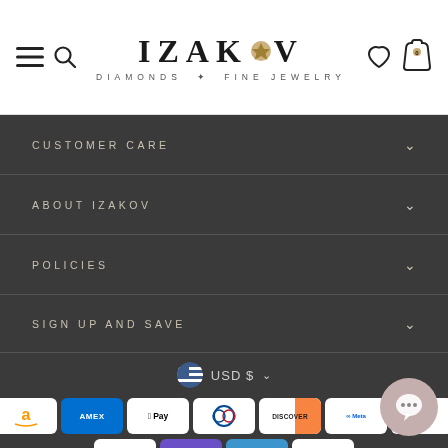[Figure (logo): Izakov Diamonds & Fine Jewelry logo with stylized text and geometric gem icon]
CUSTOMER CARE
ABOUT IZAKOV
POLICIES
SIGN UP AND SAVE
USD $
[Figure (infographic): Payment method icons: Amazon, Amex, Apple Pay, Diners Club, Discover, Meta Pay, Google Pay, PayPal, O Pay, Venmo, Visa]